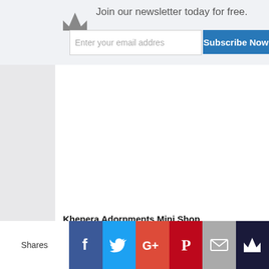Join our newsletter today for free.
Enter your email addres
Subscribe Now
Khepera Adornments Mini Shop
[Figure (photo): Jewelry earring photo - dangling gold and blue stone earring worn by a person with curly hair]
[Figure (photo): Jewelry earring photo - gold fan-shaped clip earrings with black and gold design]
Shares